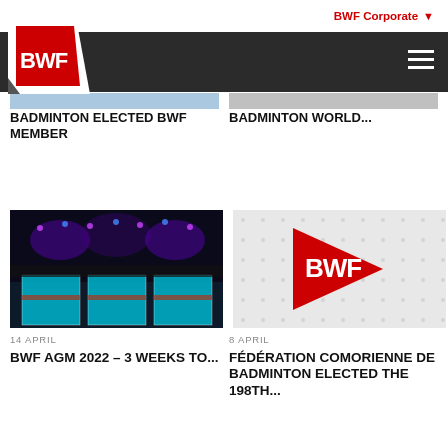BWF Corporate
[Figure (logo): BWF logo - red triangle with BWF text in white on dark navigation bar]
BADMINTON ELECTED BWF MEMBER
BADMINTON WORLD...
[Figure (photo): BWF AGM 2022 arena photo showing badminton courts lit with blue and purple lighting from above]
14 APRIL
BWF AGM 2022 – 3 WEEKS TO...
[Figure (logo): BWF logo on grey dotted background]
8 APRIL
FÉDÉRATION COMORIENNE DE BADMINTON ELECTED THE 198TH...